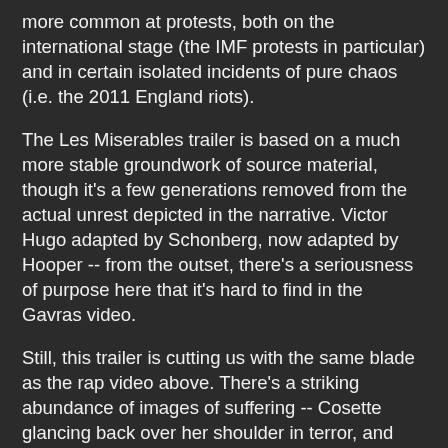more common at protests, both on the international stage (the IMF protests in particular) and in certain isolated incidents of pure chaos (i.e. the 2011 England riots).
The Les Miserables trailer is based on a much more stable groundwork of source material, though it's a few generations removed from the actual unrest depicted in the narrative. Victor Hugo adapted by Schonberg, now adapted by Hooper -- from the outset, there's a seriousness of purpose here that it's hard to find in the Gavras video.
Still, this trailer is cutting us with the same blade as the rap video above. There's a striking abundance of images of suffering -- Cosette glancing back over her shoulder in terror, and later, Anne Hathaway as Fantine, crying desperately in close-up. For a trailer, it's surprisingly heavy, and you might be tempted to recoil from it, especially if you're in a public place.
When it comes to fictional depictions of violence, anguish, redemptive fantasies, etc, the fact that they're entirely invented provides a shield, allowing the viewer to be affected